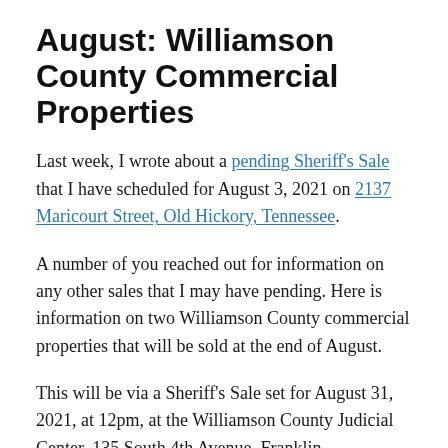August: Williamson County Commercial Properties
Last week, I wrote about a pending Sheriff's Sale that I have scheduled for August 3, 2021 on 2137 Maricourt Street, Old Hickory, Tennessee.
A number of you reached out for information on any other sales that I may have pending. Here is information on two Williamson County commercial properties that will be sold at the end of August.
This will be via a Sheriff's Sale set for August 31, 2021, at 12pm, at the Williamson County Judicial Center, 135 South 4th Avenue, Franklin.